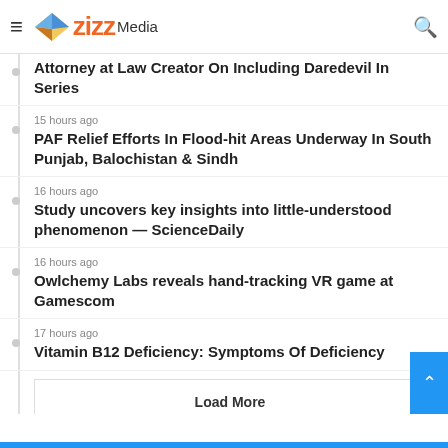zizz Media
Markets Are Told To US Fed Chair Speech
Attorney at Law Creator On Including Daredevil In Series
15 hours ago
PAF Relief Efforts In Flood-hit Areas Underway In South Punjab, Balochistan & Sindh
16 hours ago
Study uncovers key insights into little-understood phenomenon — ScienceDaily
16 hours ago
Owlchemy Labs reveals hand-tracking VR game at Gamescom
17 hours ago
Vitamin B12 Deficiency: Symptoms Of Deficiency
Load More